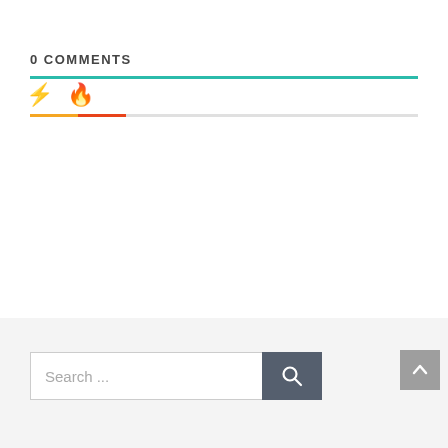0 COMMENTS
[Figure (infographic): Tab icons showing lightning bolt (yellow) and fire/flame (red-orange) icons with colored underlines indicating tab selection state]
Search ...
[Figure (other): Back to top button with upward arrow]